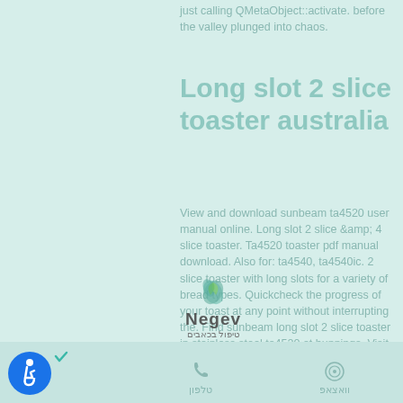just calling QMetaObject::activate. before the valley plunged into chaos.
Long slot 2 slice toaster australia
View and download sunbeam ta4520 user manual online. Long slot 2 slice &amp; 4 slice toaster. Ta4520 toaster pdf manual download. Also for: ta4540, ta4540ic. 2 slice toaster with long slots for a variety of bread types. Quickcheck the progress of your toast at any point without interrupting the. Find sunbeam long slot 2 slice toaster in stainless steel ta4520 at bunnings. Visit your local store for the widest range of products. With this model, you can toast 1 large or 2 small slices. Sunbeam long slot toaster 2 slice – stainless steel.
[Figure (logo): Negev logo with teal butterfly/leaf icon above the word Negev in bold, and Hebrew text below reading טיפול בכאבים]
טלפון | וואצאפ | accessibility icon